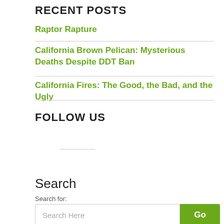RECENT POSTS
Raptor Rapture
California Brown Pelican: Mysterious Deaths Despite DDT Ban
California Fires: The Good, the Bad, and the Ugly
FOLLOW US
Search
Search for: